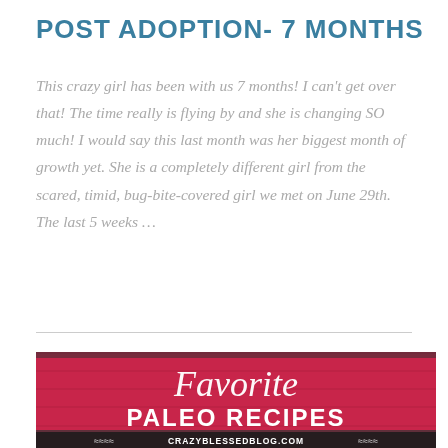POST ADOPTION- 7 MONTHS
This crazy girl has been with us 7 months! I can't get over that! The time really is flying by and she is changing SO much! I would say this last month was her biggest month of growth yet. She is a completely different girl from the scared, timid, bug-bite-covered girl we met on June 29th. The last 5 weeks …
[Figure (illustration): Red wooden plank background with script text 'Favorite' and bold white text 'PALEO RECIPES', with a banner at the bottom reading 'CRAZYBLESSEDBLOG.COM' with decorative wave elements.]